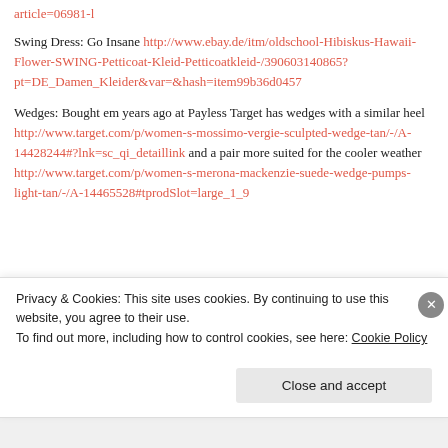article=06981-l
Swing Dress: Go Insane http://www.ebay.de/itm/oldschool-Hibiskus-Hawaii-Flower-SWING-Petticoat-Kleid-Petticoatkleid-/390603140865?pt=DE_Damen_Kleider&var=&hash=item99b36d0457
Wedges: Bought em years ago at Payless Target has wedges with a similar heel http://www.target.com/p/women-s-mossimo-vergie-sculpted-wedge-tan/-/A-14428244#?lnk=sc_qi_detaillink and a pair more suited for the cooler weather http://www.target.com/p/women-s-merona-mackenzie-suede-wedge-pumps-light-tan/-/A-14465528#tprodSlot=large_1_9
Privacy & Cookies: This site uses cookies. By continuing to use this website, you agree to their use.
To find out more, including how to control cookies, see here: Cookie Policy